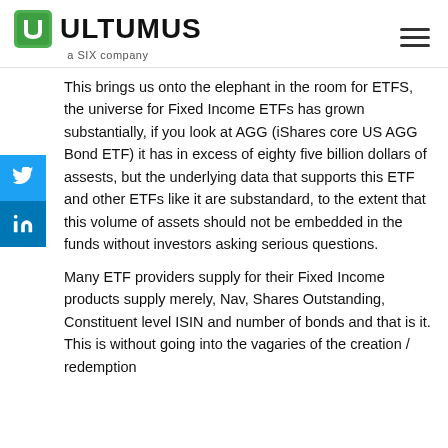ULTUMUS a SIX company
This brings us onto the elephant in the room for ETFS, the universe for Fixed Income ETFs has grown substantially, if you look at AGG (iShares core US AGG Bond ETF) it has in excess of eighty five billion dollars of assests, but the underlying data that supports this ETF and other ETFs like it are substandard, to the extent that this volume of assets should not be embedded in the funds without investors asking serious questions.
Many ETF providers supply for their Fixed Income products supply merely, Nav, Shares Outstanding, Constituent level ISIN and number of bonds and that is it. This is without going into the vagaries of the creation / redemption